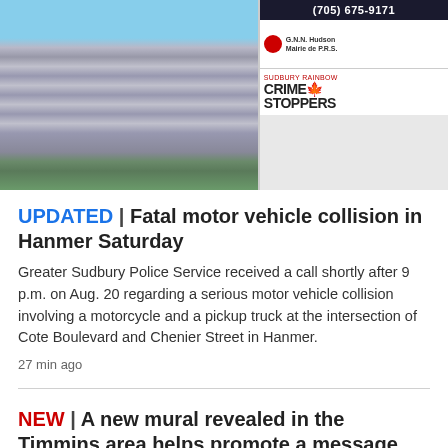[Figure (photo): Photograph of a building exterior with a Canadian flag, blue sky, trees, and a sign reading 'Sudbury Rainbow Crime Stoppers' with phone number (705) 675-9171]
UPDATED | Fatal motor vehicle collision in Hanmer Saturday
Greater Sudbury Police Service received a call shortly after 9 p.m. on Aug. 20 regarding a serious motor vehicle collision involving a motorcycle and a pickup truck at the intersection of Cote Boulevard and Chenier Street in Hanmer.
27 min ago
NEW | A new mural revealed in the Timmins area helps promote a message about the environment
9 min ago
'Hate has no home here': North Bay's